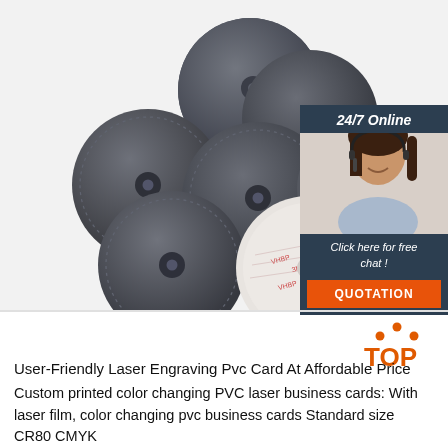[Figure (photo): Multiple dark grey/black circular NFC or RFID coin tags, and one white coin token with adhesive backing showing '3M' tape markings on a white background. A customer service banner on the right shows a woman with a headset, text '24/7 Online', 'Click here for free chat !', and an orange 'QUOTATION' button.]
[Figure (logo): Orange 'TOP' logo with orange dots forming an arc above the word TOP in bold.]
User-Friendly Laser Engraving Pvc Card At Affordable Price
Custom printed color changing PVC laser business cards: With laser film, color changing pvc business cards Standard size CR80 CMYK